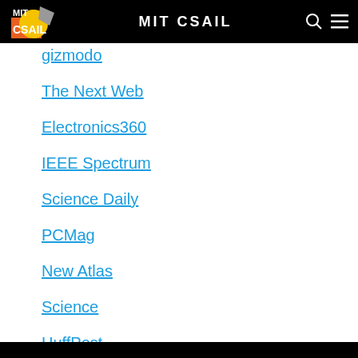MIT CSAIL
gizmodo
The Next Web
Electronics360
IEEE Spectrum
Science Daily
PCMag
New Atlas
Science
HuffPost